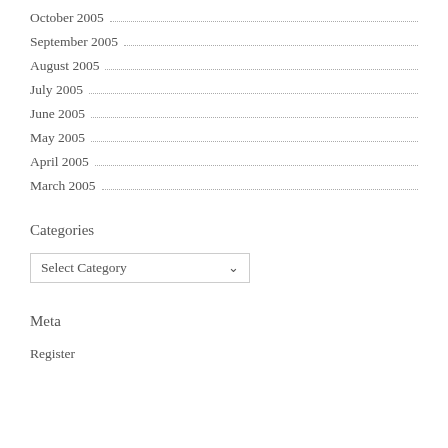October 2005
September 2005
August 2005
July 2005
June 2005
May 2005
April 2005
March 2005
Categories
Select Category
Meta
Register